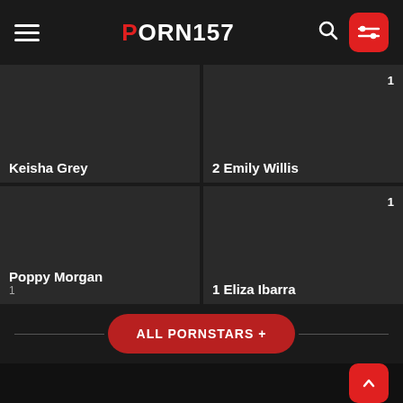PORN157
Keisha Grey
2 Emily Willis  1
Poppy Morgan  1
1 Eliza Ibarra  1
ALL PORNSTARS +